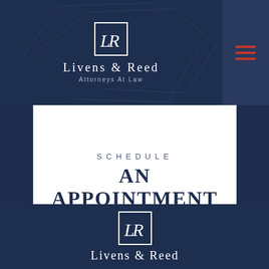[Figure (logo): Livens & Reed Attorneys At Law logo with LR monogram in white box on dark navy header background with hamburger menu icon in upper right]
SCHEDULE AN APPOINTMENT
[Figure (logo): Livens & Reed logo with LR monogram in white box on dark navy background, partial footer view]